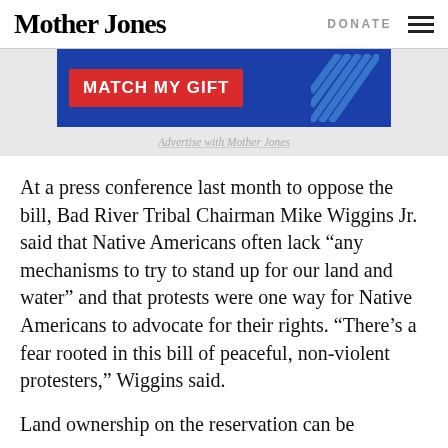Mother Jones | DONATE
[Figure (infographic): Advertisement banner: blue background with red 'MATCH MY GIFT' button and diagonal graphic element]
Advertise with Mother Jones
At a press conference last month to oppose the bill, Bad River Tribal Chairman Mike Wiggins Jr. said that Native Americans often lack “any mechanisms to try to stand up for our land and water” and that protests were one way for Native Americans to advocate for their rights. “There’s a fear rooted in this bill of peaceful, non-violent protesters,” Wiggins said.
Land ownership on the reservation can be